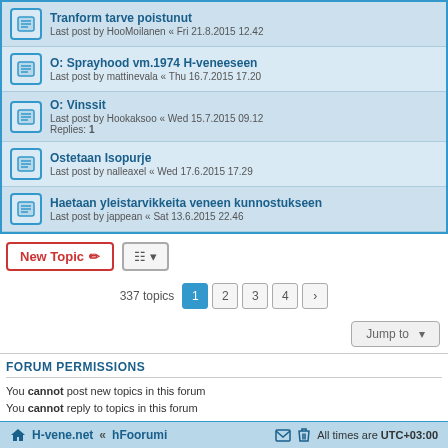Tranform tarve poistunut - Last post by HooMoilanen « Fri 21.8.2015 12.42
O: Sprayhood vm.1974 H-veneeseen - Last post by mattinevala « Thu 16.7.2015 17.20
O: Vinssit - Last post by Hookaksoo « Wed 15.7.2015 09.12 - Replies: 1
Ostetaan Isopurje - Last post by nalleaxel « Wed 17.6.2015 17.29
Haetaan yleistarvikkeita veneen kunnostukseen - Last post by jappean « Sat 13.6.2015 22.46
337 topics  1 2 3 4 >
FORUM PERMISSIONS
You cannot post new topics in this forum
You cannot reply to topics in this forum
You cannot edit your posts in this forum
You cannot delete your posts in this forum
You cannot post attachments in this forum
H-vene.net « hFoorumi   All times are UTC+03:00